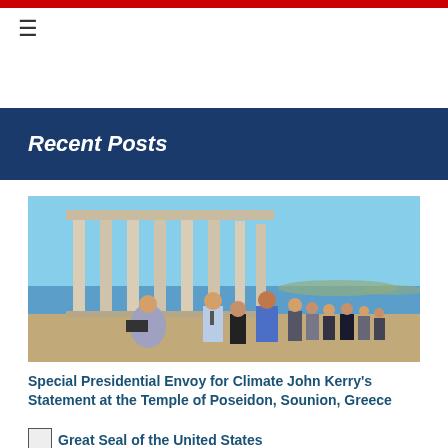≡
Recent Posts
[Figure (photo): Group of people standing at the Temple of Poseidon, Sounion, Greece. Ancient Greek columns visible in background with blue sea and sky. A man in a light blue shirt appears to be giving a statement to media with cameras and microphones present.]
Special Presidential Envoy for Climate John Kerry's Statement at the Temple of Poseidon, Sounion, Greece
[Figure (logo): Great Seal of the United States placeholder image]
Great Seal of the United States